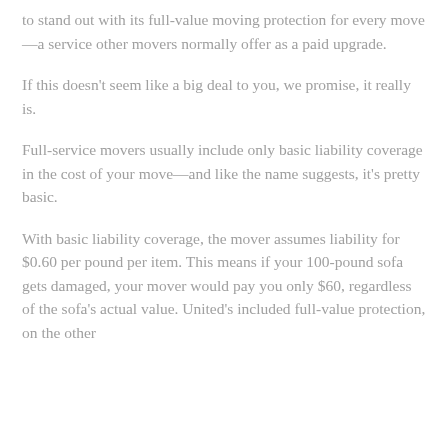to stand out with its full-value moving protection for every move—a service other movers normally offer as a paid upgrade.
If this doesn't seem like a big deal to you, we promise, it really is.
Full-service movers usually include only basic liability coverage in the cost of your move—and like the name suggests, it's pretty basic.
With basic liability coverage, the mover assumes liability for $0.60 per pound per item. This means if your 100-pound sofa gets damaged, your mover would pay you only $60, regardless of the sofa's actual value. United's included full-value protection, on the other